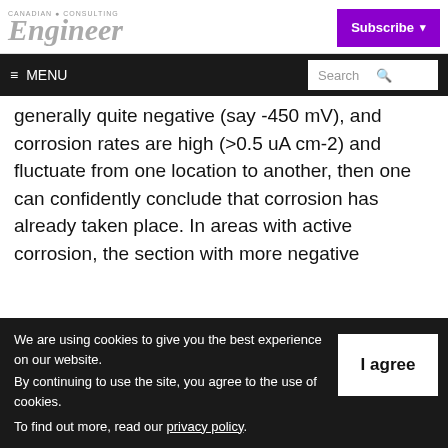Canadian Consulting Engineer | Subscribe
≡ MENU | Search
generally quite negative (say -450 mV), and corrosion rates are high (>0.5 uA cm-2) and fluctuate from one location to another, then one can confidently conclude that corrosion has already taken place. In areas with active corrosion, the section with more negative
We are using cookies to give you the best experience on our website.
By continuing to use the site, you agree to the use of cookies.
To find out more, read our privacy policy.